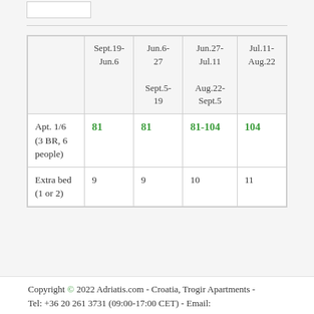|  | Sept.19-Jun.6 | Jun.6-27 Sept.5-19 | Jun.27-Jul.11 Aug.22-Sept.5 | Jul.11-Aug.22 |
| --- | --- | --- | --- | --- |
| Apt. 1/6 (3 BR, 6 people) | 81 | 81 | 81-104 | 104 |
| Extra bed (1 or 2) | 9 | 9 | 10 | 11 |
Copyright © 2022 Adriatis.com - Croatia, Trogir Apartments - Tel: +36 20 261 3731 (09:00-17:00 CET) - Email: